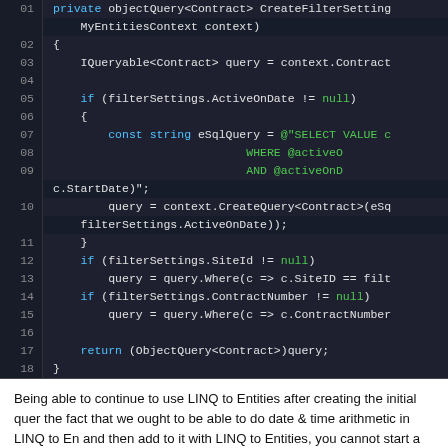[Figure (screenshot): Code editor screenshot showing C# code with line numbers 01-18. Dark background with syntax highlighting: blue for keywords (if, const, return), green for string values and null, white for identifiers. Code shows a method creating an ObjectQuery<Contract> with LINQ to Entities filtering.]
Being able to continue to use LINQ to Entities after creating the initial query, the fact that we ought to be able to do date & time arithmetic in LINQ to Entities, and then add to it with LINQ to Entities, you cannot start a query in LINQ to setting was done first.
For those who use .NET 4, unfortunately you're still stuck with being unable James told me on Twitter a while back that this was purely because of time